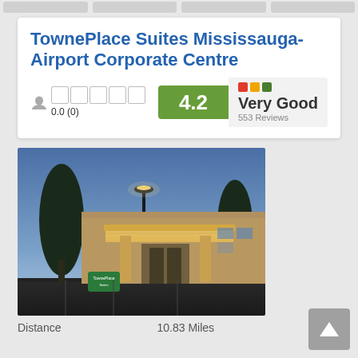TownePlace Suites Mississauga-Airport Corporate Centre
0.0 (0)
4.2  Very Good  553 Reviews
[Figure (photo): Exterior photo of TownePlace Suites Mississauga-Airport Corporate Centre hotel at dusk, showing the illuminated entrance canopy, tall light pole, and trees against a blue sky.]
Distance    10.83 Miles